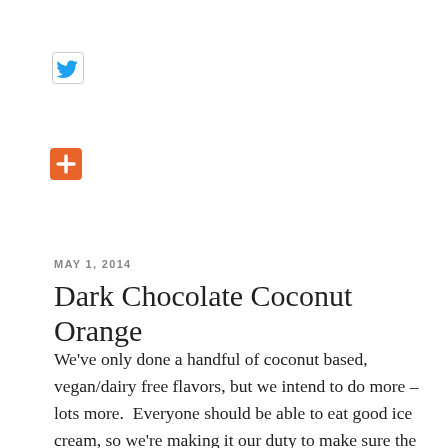[Figure (logo): Twitter bird icon, blue color, in a light bordered square]
[Figure (logo): Orange square button with white plus/cross symbol]
MAY 1, 2014
Dark Chocolate Coconut Orange
We've only done a handful of coconut based, vegan/dairy free flavors, but we intend to do more – lots more.  Everyone should be able to eat good ice cream, so we're making it our duty to make sure the dairy free and vegan crowd get some too.  Coconut ice cream presents some new challenges, but we're committing ourselves to making sure we have flavors just as interesting and appealing in this category too – and making it our own goal to make sure we refine and perfect to ensure the ice